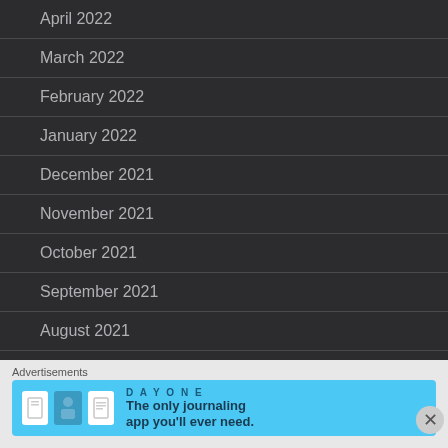April 2022
March 2022
February 2022
January 2022
December 2021
November 2021
October 2021
September 2021
August 2021
Advertisements
[Figure (other): Day One journaling app advertisement banner with text: The only journaling app you'll ever need.]